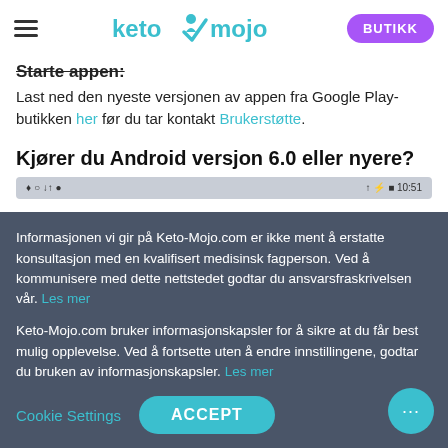keto mojo — BUTIKK
Starte appen:
Last ned den nyeste versjonen av appen fra Google Play-butikken her før du tar kontakt Brukerstøtte.
Kjører du Android versjon 6.0 eller nyere?
[Figure (screenshot): Android phone notification/status bar]
Informasjonen vi gir på Keto-Mojo.com er ikke ment å erstatte konsultasjon med en kvalifisert medisinsk fagperson. Ved å kommunisere med dette nettstedet godtar du ansvarsfraskrivelsen vår. Les mer
Keto-Mojo.com bruker informasjonskapsler for å sikre at du får best mulig opplevelse. Ved å fortsette uten å endre innstillingene, godtar du bruken av informasjonskapsler. Les mer
Cookie Settings   ACCEPT